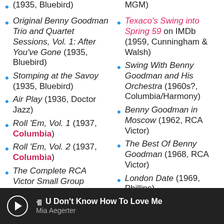(1935, Bluebird)
Original Benny Goodman Trio and Quartet Sessions, Vol. 1: After You've Gone (1935, Bluebird)
Stomping at the Savoy (1935, Bluebird)
Air Play (1936, Doctor Jazz)
Roll 'Em, Vol. 1 (1937, Columbia)
Roll 'Em, Vol. 2 (1937, Columbia)
The Complete RCA Victor Small Group Recordings (RCA Victor, 1935–39 [1997])
From Spirituals to... (partial)
MGM)
Texaco's Swing into Spring 59 on IMDb (1959, Cunningham & Walsh)
Swing With Benny Goodman and His Orchestra (1960s?, Columbia/Harmony)
Benny Goodman in Moscow (1962, RCA Victor)
The Best Of Benny Goodman (1968, RCA Victor)
London Date (1969, Phillips)
Benny Goodman Today (1970, London Records...
U Don't Know How To Love Me — Mia Aegerter